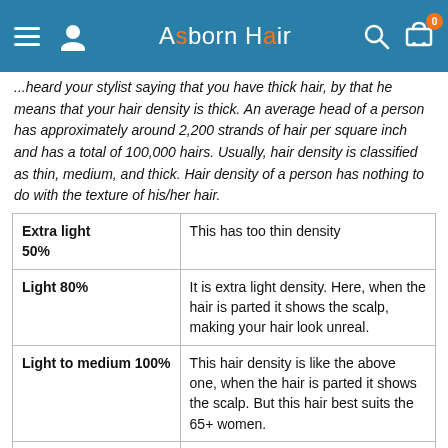Asborn Hair
...heard your stylist saying that you have thick hair, by that he means that your hair density is thick. An average head of a person has approximately around 2,200 strands of hair per square inch and has a total of 100,000 hairs. Usually, hair density is classified as thin, medium, and thick. Hair density of a person has nothing to do with the texture of his/her hair.
| Density | Description |
| --- | --- |
| Extra light 50% | This has too thin density |
| Light 80% | It is extra light density. Here, when the hair is parted it shows the scalp, making your hair look unreal. |
| Light to medium 100% | This hair density is like the above one, when the hair is parted it shows the scalp. But this hair best suits the 65+ women. |
| Medium 120% | It is the regular hair density. Nowadays in trend the wig market. |
| Medium to | This is the normal density ideally suited for |